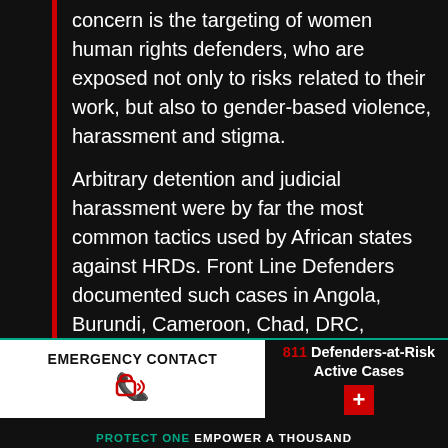concern is the targeting of women human rights defenders, who are exposed not only to risks related to their work, but also to gender-based violence, harassment and stigma.
Arbitrary detention and judicial harassment were by far the most common tactics used by African states against HRDs. Front Line Defenders documented such cases in Angola, Burundi, Cameroon, Chad, DRC, Ethiopia, Mauritania, Niger, Rwanda, Somaliland, Uganda and Zimbabwe. 2015 also saw the space for HRDs in Angola, Burundi, Rwanda and Uganda shrink further, due to new laws and increased governmental interference with the work of independent human
EMERGENCY CONTACT
811 Defenders-at-Risk Active Cases
PROTECT ONE EMPOWER A THOUSAND